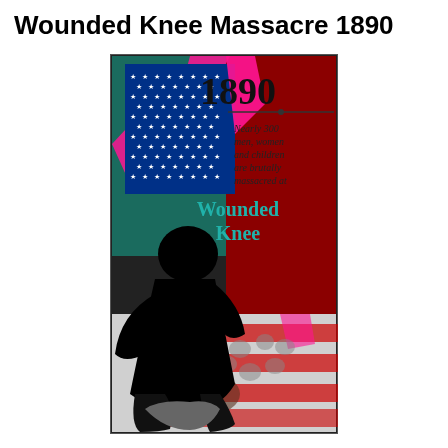Wounded Knee Massacre 1890
[Figure (illustration): Graphic artwork depicting the Wounded Knee Massacre of 1890. The image shows a silhouetted figure in the foreground, an American flag with blue canton and white stars in the upper left, a dark teal background, hot pink accents, and a red panel on the right side displaying the year '1890' and text reading 'Nearly 300 men, women and children are brutally massacred at Wounded Knee' in dark and teal lettering. The lower portion shows a black-and-white photographic collage of people overlaid with red stripes from an American flag, with the silhouetted figure dominating the lower left.]